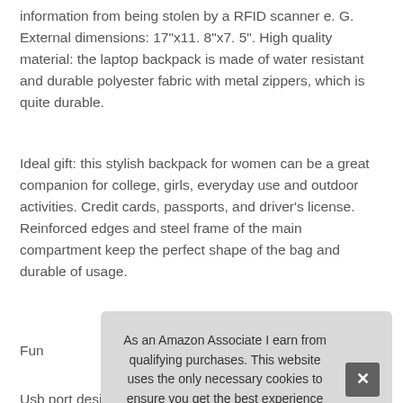information from being stolen by a RFID scanner e. G. External dimensions: 17"x11. 8"x7. 5". High quality material: the laptop backpack is made of water resistant and durable polyester fabric with metal zippers, which is quite durable.
Ideal gift: this stylish backpack for women can be a great companion for college, girls, everyday use and outdoor activities. Credit cards, passports, and driver's license. Reinforced edges and steel frame of the main compartment keep the perfect shape of the bag and durable of usage.
More information #ad
Fun... to th... to c... frien...
Usb port design: with a usb charging port extended on the side...
As an Amazon Associate I earn from qualifying purchases. This website uses the only necessary cookies to ensure you get the best experience on our website. More information